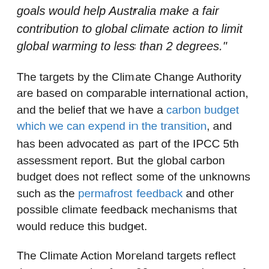goals would help Australia make a fair contribution to global climate action to limit global warming to less than 2 degrees."
The targets by the Climate Change Authority are based on comparable international action, and the belief that we have a carbon budget which we can expend in the transition, and has been advocated as part of the IPCC 5th assessment report. But the global carbon budget does not reflect some of the unknowns such as the permafrost feedback and other possible climate feedback mechanisms that would reduce this budget.
The Climate Action Moreland targets reflect the argument that for a 90 per cent chance of staying under 2 degrees Celsius the global carbon budget is already used up. This is explained in David Spratt's latest report: Recount. It's...